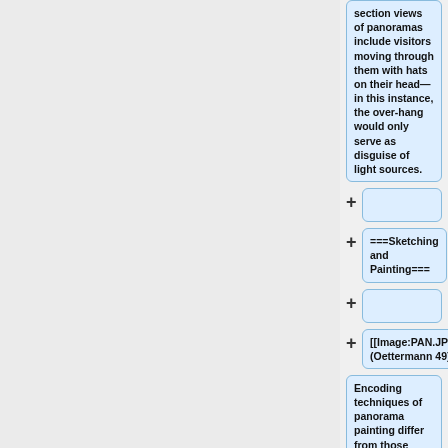section views of panoramas include visitors moving through them with hats on their head—in this instance, the over-hang would only serve as disguise of light sources.
===Sketching and Painting===
[[Image:PAN.JPG|thumb|right|(Oettermann 49)]]
Encoding techniques of panorama painting differ from those